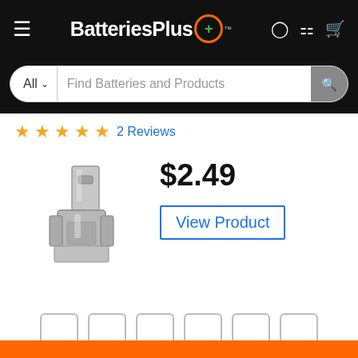BatteriesPlus+ navigation bar with hamburger menu, logo, user, location, and cart icons
All  Find Batteries and Products [search bar]
★★★★★ 2 Reviews
[Figure (photo): Metal battery terminal clip connector, silver/chrome colored, photographed on white background]
$2.49
View Product
Orange footer bar at the bottom of the page